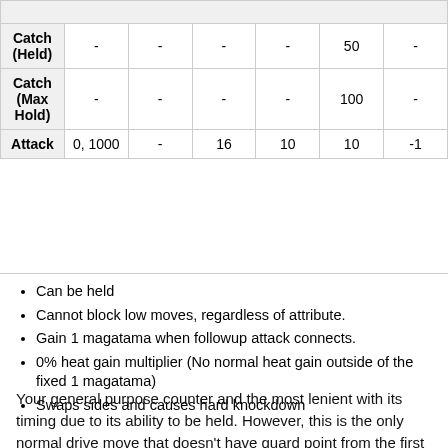|  |  |  |  |  |  |  |
| --- | --- | --- | --- | --- | --- | --- |
| Catch (Held) | - | - | - | - | 50 | - |
| Catch (Max Hold) | - | - | - | - | 100 | - |
| Attack | 0, 1000 | - | 16 | 10 | 10 | -1 |
Can be held
Cannot block low moves, regardless of attribute.
Gain 1 magatama when followup attack connects.
0% heat gain multiplier (No normal heat gain outside of the fixed 1 magatama)
Swaps sides and causes hard knockdown
Your general purpose counter and the most lenient with its timing due to its ability to be held. However, this is the only normal drive move that doesn't have guard point from the first frame, so don't use it as a reversal. Gives reasonable reward